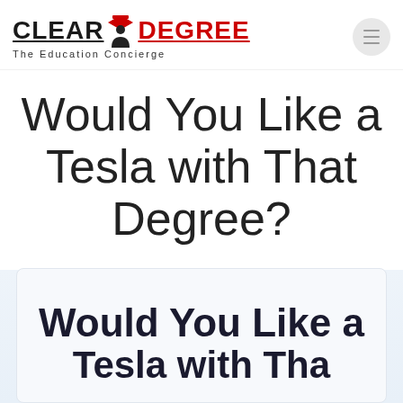[Figure (logo): Clear Degree logo with graduation cap figure — 'CLEAR' in black bold underlined text, person silhouette with red graduation cap, 'DEGREE' in red bold underlined text. Tagline below reads 'The Education Concierge'.]
Would You Like a Tesla with That Degree?
Would You Like a Tesla with That